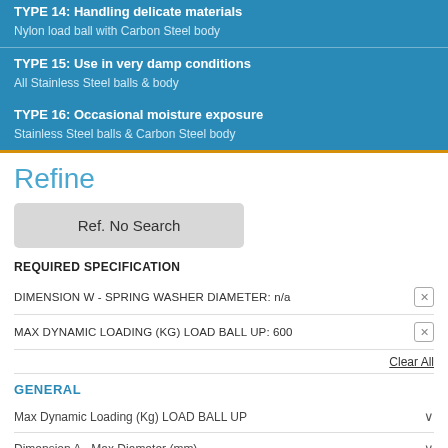TYPE 14: Handling delicate materials
Nylon load ball with Carbon Steel body
TYPE 15: Use in very damp conditions
All Stainless Steel balls & body
TYPE 16: Occasional moisture exposure
Stainless Steel balls & Carbon Steel body
Refine
Ref. No Search
REQUIRED SPECIFICATION
DIMENSION W - SPRING WASHER DIAMETER: n/a
MAX DYNAMIC LOADING (KG) LOAD BALL UP: 600
Clear All
GENERAL
Max Dynamic Loading (Kg) LOAD BALL UP
Dimension A - Max Diameter (mm)